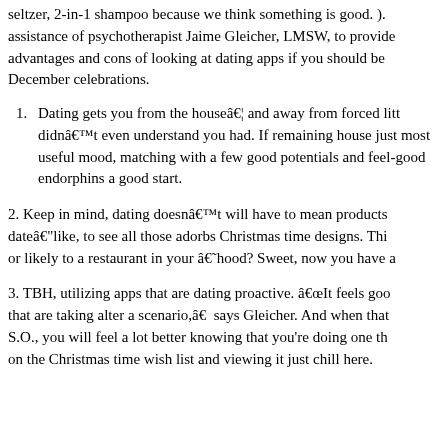seltzer, 2-in-1 shampoo because we think something is good. ). assistance of psychotherapist Jaime Gleicher, LMSW, to provide advantages and cons of looking at dating apps if you should be December celebrations.
Dating gets you from the houseâ€¦ and away from forced litt didnâ€™t even understand you had. If remaining house just most useful mood, matching with a few good potentials and feel-good endorphins a good start.
2. Keep in mind, dating doesnâ€™t will have to mean products dateâ€"like, to see all those adorbs Christmas time designs. Thi or likely to a restaurant in your â€˜hood? Sweet, now you have a
3. TBH, utilizing apps that are dating proactive. â€œIt feels goo that are taking alter a scenario,â€ says Gleicher. And when that S.O., you will feel a lot better knowing that you're doing one th on the Christmas time wish list and viewing it just chill here.